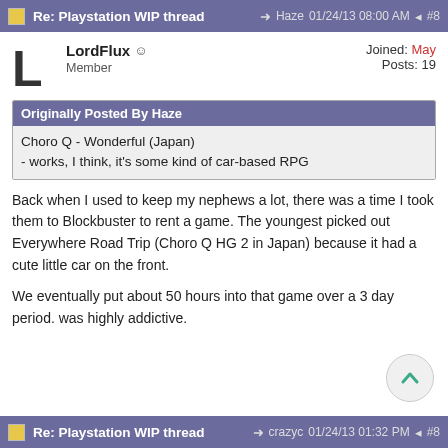Re: Playstation WIP thread  → Haze  01/24/13 08:00 AM  #8
LordFlux  Member  Joined: May  Posts: 19
Originally Posted By Haze
Choro Q - Wonderful (Japan)
- works, I think, it's some kind of car-based RPG
Back when I used to keep my nephews a lot, there was a time I took them to Blockbuster to rent a game. The youngest picked out Everywhere Road Trip (Choro Q HG 2 in Japan) because it had a cute little car on the front.

We eventually put about 50 hours into that game over a 3 day period. was highly addictive.
Re: Playstation WIP thread  → crazyc  01/24/13 01:32 PM  #8